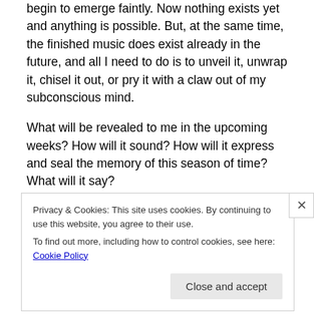begin to emerge faintly. Now nothing exists yet and anything is possible. But, at the same time, the finished music does exist already in the future, and all I need to do is to unveil it, unwrap it, chisel it out, or pry it with a claw out of my subconscious mind.
What will be revealed to me in the upcoming weeks? How will it sound? How will it express and seal the memory of this season of time? What will it say?
I am not afraid of the silence or the blank canvas. Both are a playground for the brave and curious.
Privacy & Cookies: This site uses cookies. By continuing to use this website, you agree to their use.
To find out more, including how to control cookies, see here: Cookie Policy